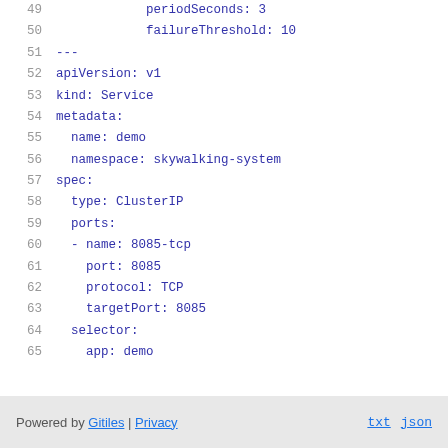Code listing lines 49-65: YAML Kubernetes configuration. Lines: 49: periodSeconds: 3, 50: failureThreshold: 10, 51: ---, 52: apiVersion: v1, 53: kind: Service, 54: metadata:, 55: name: demo, 56: namespace: skywalking-system, 57: spec:, 58: type: ClusterIP, 59: ports:, 60: - name: 8085-tcp, 61: port: 8085, 62: protocol: TCP, 63: targetPort: 8085, 64: selector:, 65: app: demo
Powered by Gitiles | Privacy    txt  json